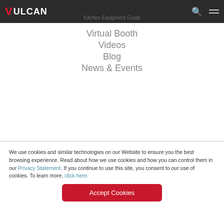VULCAN
Virtual Booth
Videos
Blog
News & Events
We use cookies and similar technologies on our Website to ensure you the best browsing experience. Read about how we use cookies and how you can control them in our Privacy Statement. If you continue to use this site, you consent to our use of cookies. To learn more, click here.
Accept Cookies